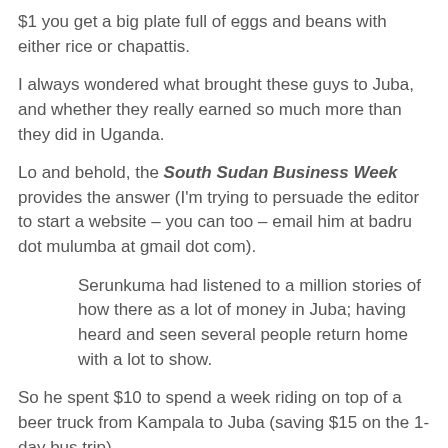$1 you get a big plate full of eggs and beans with either rice or chapattis.
I always wondered what brought these guys to Juba, and whether they really earned so much more than they did in Uganda.
Lo and behold, the South Sudan Business Week provides the answer (I'm trying to persuade the editor to start a website – you can too – email him at badru dot mulumba at gmail dot com).
Serunkuma had listened to a million stories of how there as a lot of money in Juba; having heard and seen several people return home with a lot to show.
So he spent $10 to spend a week riding on top of a beer truck from Kampala to Juba (saving $15 on the 1-day bus trip).
After an abortive dabble in the construction business, Serunkuma decided to be self employed.